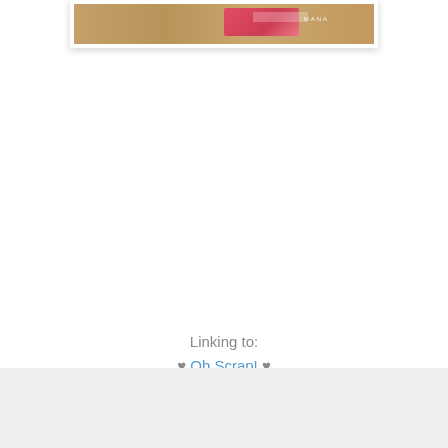[Figure (photo): Partial photo of crafting or quilting materials on a wooden surface, showing colorful fabric pieces with text/label, wood grain background visible]
Linking to:
♥ Oh Scrap! ♥